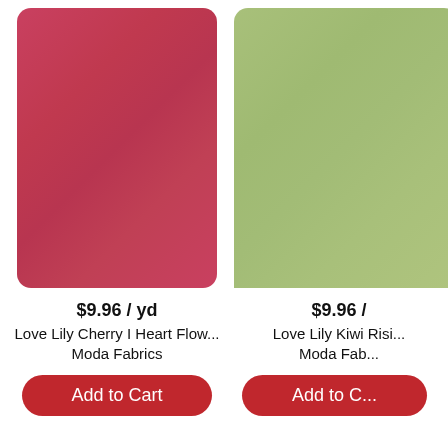[Figure (photo): Red/cherry colored fabric swatch with rounded corners]
$9.96 / yd
Love Lily Cherry I Heart Flow...
Moda Fabrics
Add to Cart
[Figure (photo): Kiwi/sage green colored fabric swatch, partially cropped on right]
$9.96 /
Love Lily Kiwi Risi...
Moda Fab...
Add to C...